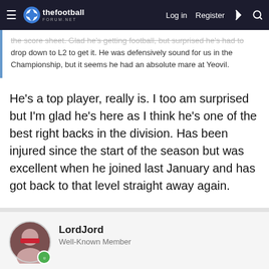thefootballforum.net — Log in | Register
the score sheet. Glad he's getting football, but surprised he's had to drop down to L2 to get it. He was defensively sound for us in the Championship, but it seems he had an absolute mare at Yeovil.
He's a top player, really is. I too am surprised but I'm glad he's here as I think he's one of the best right backs in the division. Has been injured since the start of the season but was excellent when he joined last January and has got back to that level straight away again.
LordJord
Well-Known Member
Nov 23, 2015
#30
EricSabin said: